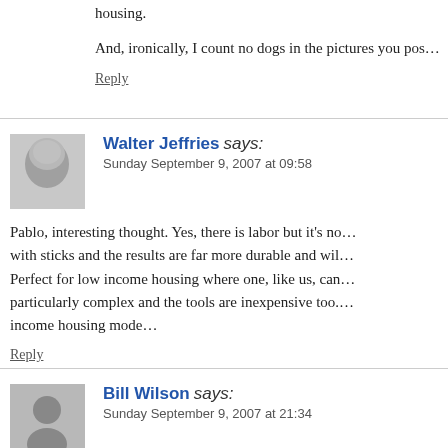housing.
And, ironically, I count no dogs in the pictures you pos…
Reply
Walter Jeffries says:
Sunday September 9, 2007 at 09:58
Pablo, interesting thought. Yes, there is labor but it's no… with sticks and the results are far more durable and wil… Perfect for low income housing where one, like us, can… particularly complex and the tools are inexpensive too. … income housing mode…
Reply
Bill Wilson says:
Sunday September 9, 2007 at 21:34